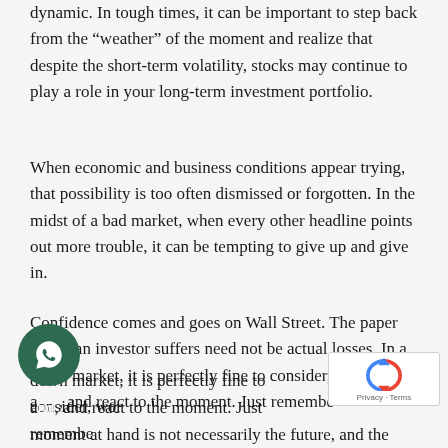dynamic. In tough times, it can be important to step back from the “weather” of the moment and realize that despite the short-term volatility, stocks may continue to play a role in your long-term investment portfolio.
When economic and business conditions appear trying, that possibility is too often dismissed or forgotten. In the midst of a bad market, when every other headline points out more trouble, it can be tempting to give up and give in.
Confidence comes and goes on Wall Street. The paper losses an investor suffers need not be actual losses. In a down market, it is perfectly fine to consider, worry, and react to the moment. Just remember, the moment at hand is not necessarily the future, and the